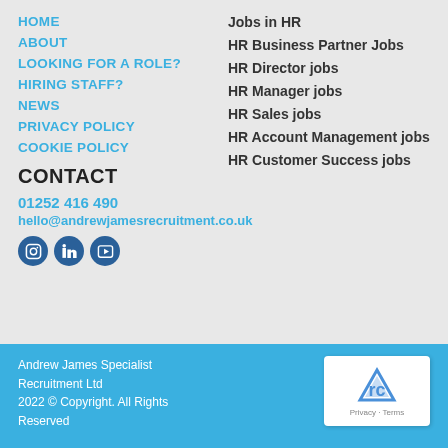HOME
ABOUT
LOOKING FOR A ROLE?
HIRING STAFF?
NEWS
PRIVACY POLICY
COOKIE POLICY
Jobs in HR
HR Business Partner Jobs
HR Director jobs
HR Manager jobs
HR Sales jobs
HR Account Management jobs
HR Customer Success jobs
CONTACT
01252 416 490
hello@andrewjamesrecruitment.co.uk
[Figure (illustration): Social media icons: Instagram, LinkedIn, YouTube]
Andrew James Specialist Recruitment Ltd
2022 © Copyright. All Rights Reserved
website by SED